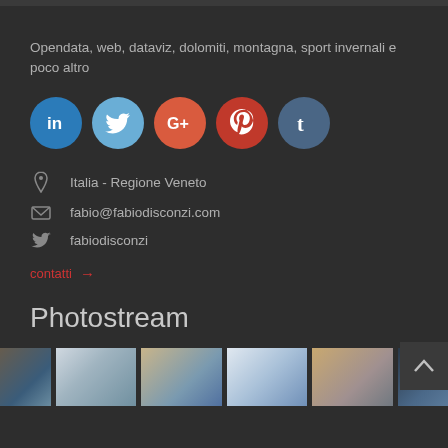Opendata, web, dataviz, dolomiti, montagna, sport invernali e poco altro
[Figure (infographic): Row of 5 social media icon circles: LinkedIn (blue), Twitter (light blue), Google+ (orange-red), Pinterest (dark red), Tumblr (steel blue)]
Italia - Regione Veneto
fabio@fabiodisconzi.com
fabiodisconzi
contatti →
Photostream
[Figure (photo): Strip of 6 small landscape/mountain thumbnail photos at the bottom of the page]